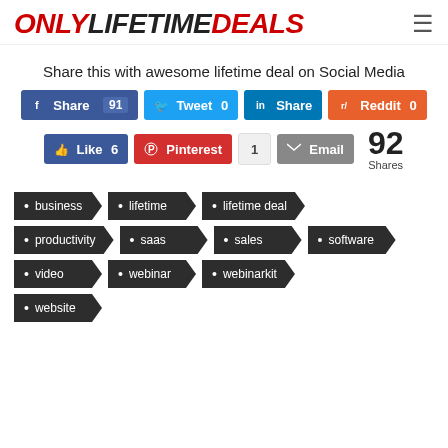ONLY LIFETIME DEALS
Share this with awesome lifetime deal on Social Media
Share 91 | Tweet 0 | Share | Reddit 0 | Like 6 | Pinterest | 1 | Email | 92 Shares
business
lifetime
lifetime deal
productivity
saas
sales
software
video
webinar
webinarkit
website